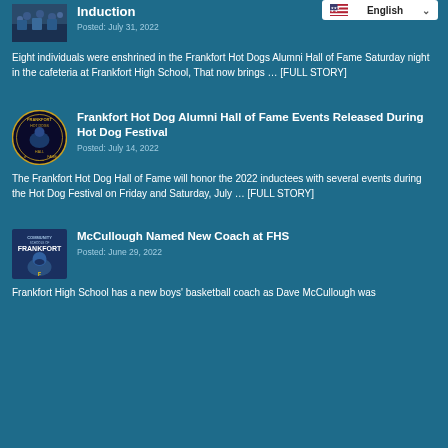[Figure (photo): Basketball crowd photo thumbnail]
Induction
Posted: July 31, 2022
Eight individuals were enshrined in the Frankfort Hot Dogs Alumni Hall of Fame Saturday night in the cafeteria at Frankfort High School, That now brings … [FULL STORY]
[Figure (logo): Frankfort Hot Dogs Hall of Fame circular logo]
Frankfort Hot Dog Alumni Hall of Fame Events Released During Hot Dog Festival
Posted: July 14, 2022
The Frankfort Hot Dog Hall of Fame will honor the 2022 inductees with several events during the Hot Dog Festival on Friday and Saturday, July … [FULL STORY]
[Figure (logo): Community Schools of Frankfort Hot Dogs mascot logo]
McCullough Named New Coach at FHS
Posted: June 29, 2022
Frankfort High School has a new boys' basketball coach as Dave McCullough was